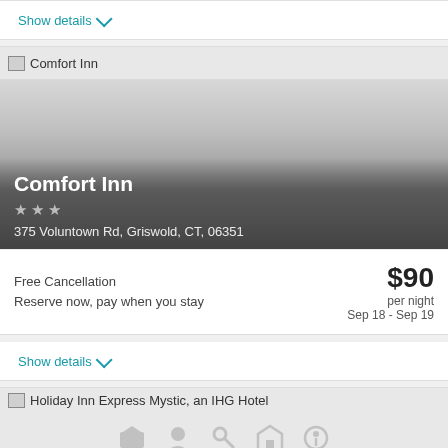Show details
[Figure (photo): Comfort Inn hotel image with broken image placeholder at top and dark gradient overlay at bottom showing hotel name, stars, and address]
Comfort Inn
375 Voluntown Rd, Griswold, CT, 06351
Free Cancellation
Reserve now, pay when you stay
$90 per night Sep 18 - Sep 19
Show details
[Figure (photo): Holiday Inn Express Mystic, an IHG Hotel image placeholder with icons at bottom]